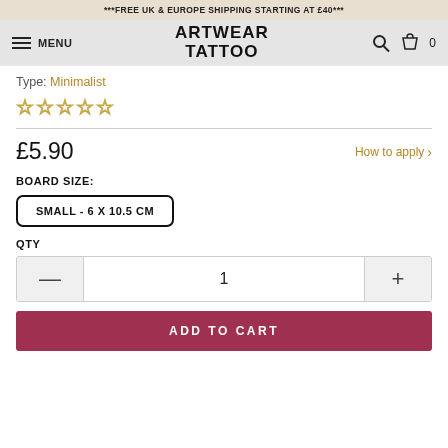***FREE UK & EUROPE SHIPPING STARTING AT £40***
ARTWEAR TATTOO — MENU — Search — Cart 0
Type: Minimalist
[Figure (other): 5 empty star rating icons]
£5.90
How to apply >
BOARD SIZE:
SMALL - 6 X 10.5 CM
QTY
1
ADD TO CART